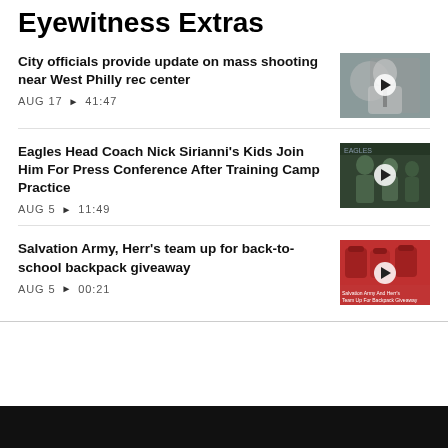Eyewitness Extras
City officials provide update on mass shooting near West Philly rec center
AUG 17  ▶  41:47
[Figure (photo): Thumbnail of a man in a white shirt and tie speaking at a press conference]
Eagles Head Coach Nick Sirianni's Kids Join Him For Press Conference After Training Camp Practice
AUG 5  ▶  11:49
[Figure (photo): Thumbnail of Nick Sirianni at a press conference with children in Eagles gear]
Salvation Army, Herr's team up for back-to-school backpack giveaway
AUG 5  ▶  00:21
[Figure (photo): Thumbnail of red backpacks with Salvation Army and Herr's logos]